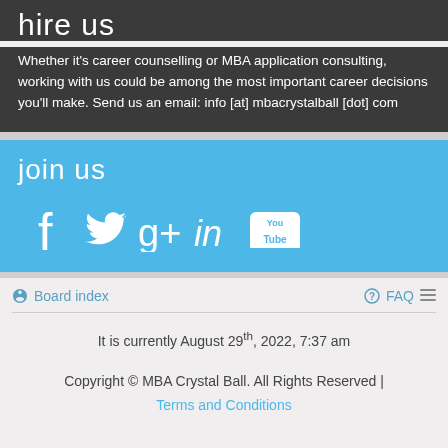hire us
Whether it's career counselling or MBA application consulting, working with us could be among the most important career decisions you'll make. Send us an email: info [at] mbacrystalball [dot] com
join us
[Figure (illustration): Social media icons: Facebook, Twitter, Google+, LinkedIn, YouTube on blue background]
Board index
FAQ
It is currently August 29th, 2022, 7:37 am
Copyright © MBA Crystal Ball. All Rights Reserved | Terms and Conditions